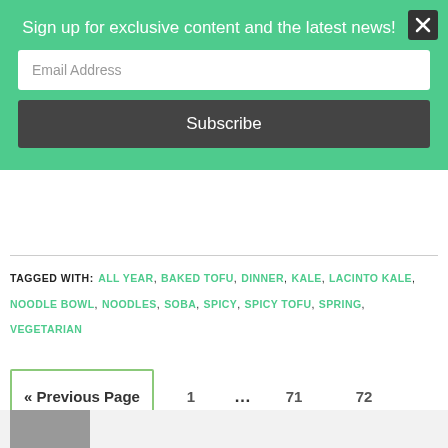Sign up for exclusive content and the latest news!
Email Address (input field)
Subscribe (button)
TAGGED WITH: ALL YEAR, BAKED TOFU, DINNER, KALE, LACINTO KALE, NOODLE BOWL, NOODLES, SOBA, SPICY, SPICY TOFU, SPRING, VEGETARIAN
« Previous Page  1  ...  71  72  73  74  Next Page »